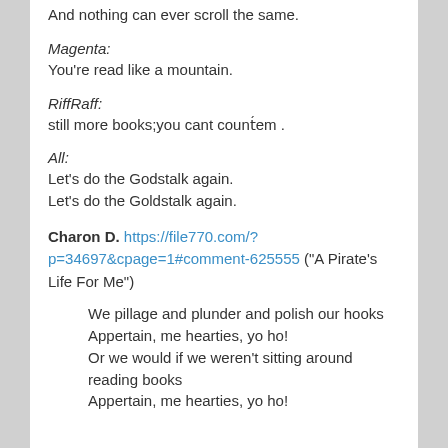And nothing can ever scroll the same.
Magenta:
You're read like a mountain.
RiffRaff:
still more books;you cant count´em .
All:
Let's do the Godstalk again.
Let's do the Goldstalk again.
Charon D. https://file770.com/?p=34697&cpage=1#comment-625555 ("A Pirate's Life For Me")
We pillage and plunder and polish our hooks
Appertain, me hearties, yo ho!
Or we would if we weren't sitting around reading books
Appertain, me hearties, yo ho!